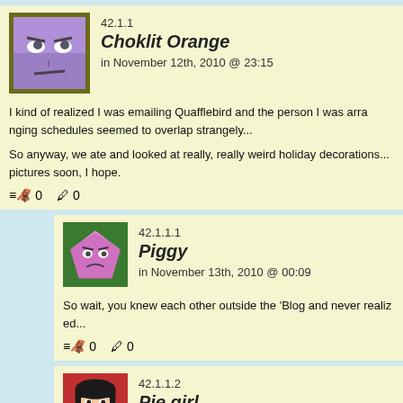42.1.1
Choklit Orange
in November 12th, 2010 @ 23:15
I kind of realized I was emailing Quafflebird and the person I was arranging schedules seemed to overlap strangely...
So anyway, we ate and looked at really, really weird holiday decorations... pictures soon, I hope.
0  0
42.1.1.1
Piggy
in November 13th, 2010 @ 00:09
So wait, you knew each other outside the 'Blog and never realized...
0  0
42.1.1.2
Pie girl
in November 14th, 2010 @ 17:21
Woah.... Coolio!
0  0